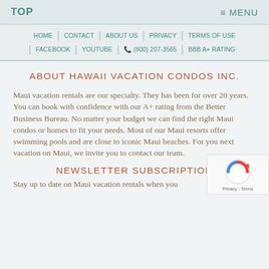TOP    ≡ MENU
HOME | CONTACT | ABOUT US | PRIVACY | TERMS OF USE | FACEBOOK | YOUTUBE | ☎ (800) 207-3565 | BBB A+ RATING
ABOUT HAWAII VACATION CONDOS INC.
Maui vacation rentals are our specialty. They has been for over 20 years. You can book with confidence with our A+ rating from the Better Business Bureau. No matter your budget we can find the right Maui condos or homes to fit your needs. Most of our Maui resorts offer swimming pools and are close to iconic Maui beaches. For you next vacation on Maui, we invite you to contact our team.
NEWSLETTER SUBSCRIPTION
Stay up to date on Maui vacation rentals when you